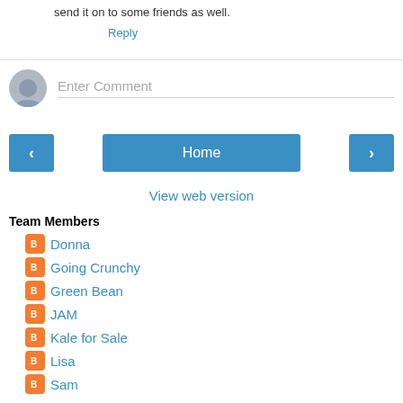send it on to some friends as well.
Reply
[Figure (other): Comment input area with user avatar placeholder and 'Enter Comment' text field]
[Figure (other): Navigation buttons: left arrow, Home, right arrow]
View web version
Team Members
Donna
Going Crunchy
Green Bean
JAM
Kale for Sale
Lisa
Sam